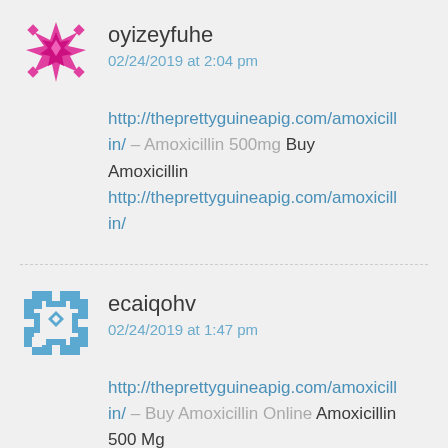[Figure (illustration): Pink/magenta decorative avatar icon with geometric star/snowflake pattern]
oyizeyfuhe
02/24/2019 at 2:04 pm
http://theprettyguineapig.com/amoxicillin/ – Amoxicillin 500mg Buy Amoxicillin http://theprettyguineapig.com/amoxicillin/
[Figure (illustration): Blue/steel decorative avatar icon with geometric mosaic/tile pattern]
ecaiqohv
02/24/2019 at 1:47 pm
http://theprettyguineapig.com/amoxicillin/ – Buy Amoxicillin Online Amoxicillin 500 Mg http://theprettyguineapig.com/amoxicill